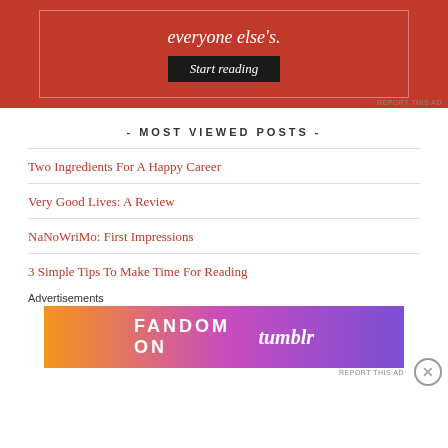[Figure (other): Red advertisement banner with 'everyone else's.' text and 'Start reading' button on dark background]
REPORT THIS AD
- MOST VIEWED POSTS -
Two Ingredients For A Happy Career
Very Good Lives: A Review
NaNoWriMo: First Impressions
3 Simple Tips To Make Time For Reading
Advertisements
[Figure (other): Fandom on Tumblr colorful advertisement banner with gradient orange to purple background]
REPORT THIS AD